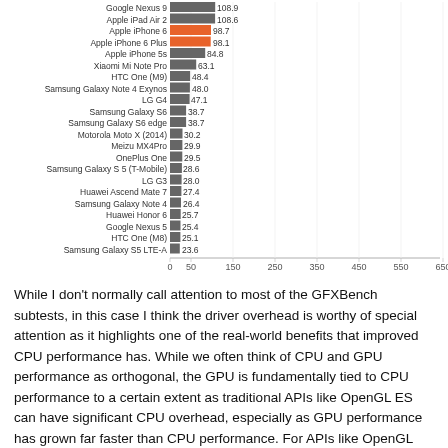[Figure (bar-chart): ]
While I don't normally call attention to most of the GFXBench subtests, in this case I think the driver overhead is worthy of special attention as it highlights one of the real-world benefits that improved CPU performance has. While we often think of CPU and GPU performance as orthogonal, the GPU is fundamentally tied to CPU performance to a certain extent as traditional APIs like OpenGL ES can have significant CPU overhead, especially as GPU performance has grown far faster than CPU performance. For APIs like OpenGL ES, to set up a frame it's necessary for the CPU to check that the API call is valid, then do any necessary GPU shader